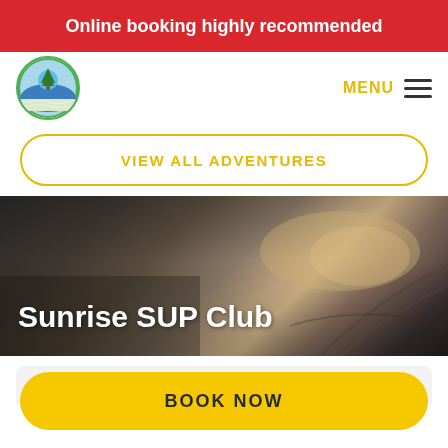Online booking highly recommended
[Figure (logo): Circular logo with tree and water design, green border]
MENU ≡
VIEW ALL ADVENTURES
[Figure (photo): Dark overhead view of a stand-up paddleboard on water/wet surface with sunlight reflection]
Sunrise SUP Club
QUICK DETAILS
BOOK NOW